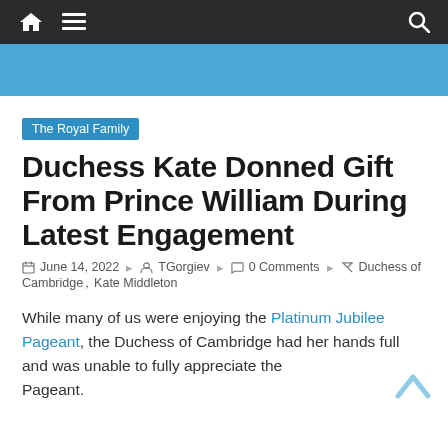Navigation bar with home, menu, and search icons
[Figure (photo): Partial photo strip showing a person in a blue top, cropped at top of page]
The Royal Family
Duchess Kate Donned Gift From Prince William During Latest Engagement
June 14, 2022  TGorgiev  0 Comments  Duchess of Cambridge, Kate Middleton
While many of us were enjoying the Platinum Jubilee Pageant, the Duchess of Cambridge had her hands full and was unable to fully appreciate the Pageant.